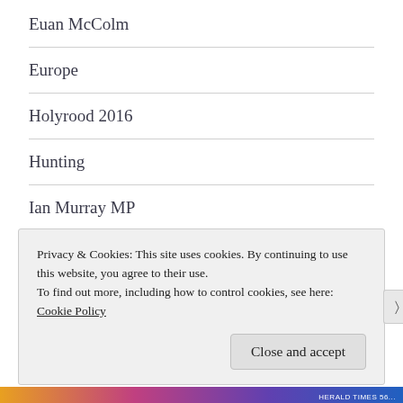Euan McColm
Europe
Holyrood 2016
Hunting
Ian Murray MP
inequality
Privacy & Cookies: This site uses cookies. By continuing to use this website, you agree to their use.
To find out more, including how to control cookies, see here:
Cookie Policy
Close and accept